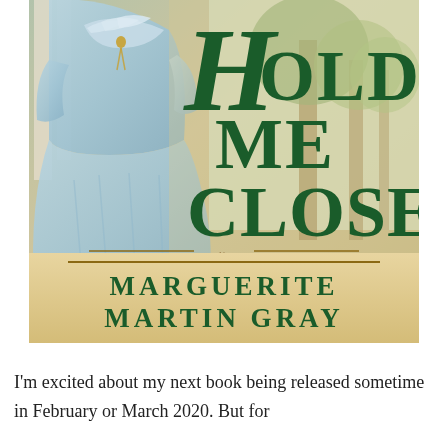[Figure (illustration): Book cover of 'Hold Me Close' by Marguerite Martin Gray. Shows a woman in a blue historical dress in the foreground with a Southern mansion and trees in the background. The title 'Hold Me Close' is written in large dark green script/serif font overlaid on the image. Below the image is a tan/cream band with the author name 'MARGUERITE MARTIN GRAY' in green capital letters.]
I'm excited about my next book being released sometime in February or March 2020. But for